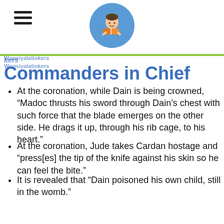Commanders in Chief
Commanders in Chief
At the coronation, while Dain is being crowned, “Madoc thrusts his sword through Dain’s chest with such force that the blade emerges on the other side. He drags it up, through his rib cage, to his heart.”
At the coronation, Jude takes Cardan hostage and “press[es] the tip of the knife against his skin so he can feel the bite.”
It is revealed that “Dain poisoned his own child, still in the womb.”
Locke has been secretly dating both Jude and Taryn. When Jude finds out, she challenges Taryn to a fight. Afterward, Madoc questions Taryn, “Did she thrust a sword into your hand and make you swing it? Do you really think that your sister has no honor, that she would chop you into pieces while you stood by, unarmed?”’